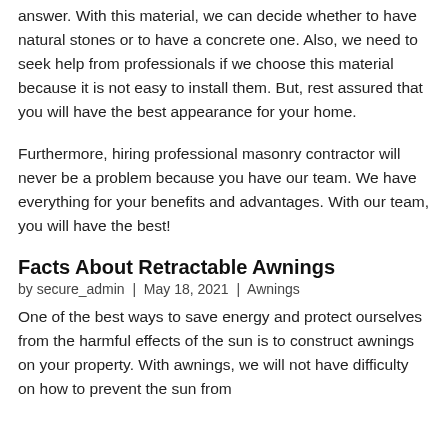answer. With this material, we can decide whether to have natural stones or to have a concrete one. Also, we need to seek help from professionals if we choose this material because it is not easy to install them. But, rest assured that you will have the best appearance for your home.
Furthermore, hiring professional masonry contractor will never be a problem because you have our team. We have everything for your benefits and advantages. With our team, you will have the best!
Facts About Retractable Awnings
by secure_admin | May 18, 2021 | Awnings
One of the best ways to save energy and protect ourselves from the harmful effects of the sun is to construct awnings on your property. With awnings, we will not have difficulty on how to prevent the sun from...